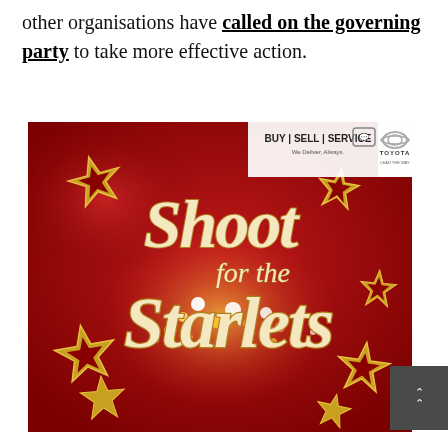other organisations have called on the governing party to take more effective action.
[Figure (illustration): Toyota 'Shoot for the Starlets' advertisement with red background, gold stars, glowing lights, and script text. Toyota logo with 'BUY | SELL | SERVICE' banner in top right corner.]